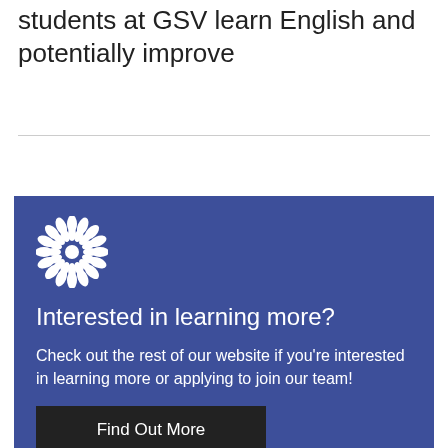students at GSV learn English and potentially improve
[Figure (logo): White decorative mandala/snowflake logo on blue background]
Interested in learning more?
Check out the rest of our website if you're interested in learning more or applying to join our team!
Find Out More